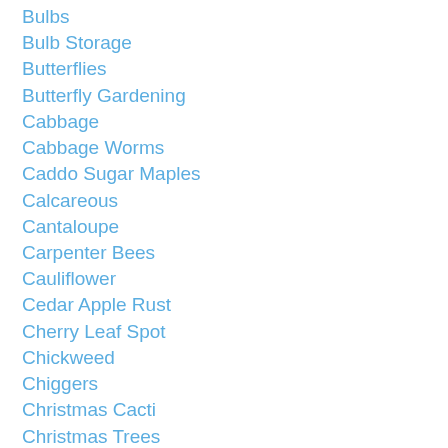Bulbs
Bulb Storage
Butterflies
Butterfly Gardening
Cabbage
Cabbage Worms
Caddo Sugar Maples
Calcareous
Cantaloupe
Carpenter Bees
Cauliflower
Cedar Apple Rust
Cherry Leaf Spot
Chickweed
Chiggers
Christmas Cacti
Christmas Trees
Cicada
Cicada Killer Wasps
Codling Moth Control
Cold Frames